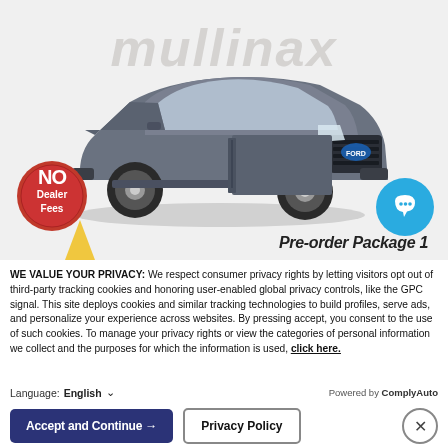[Figure (photo): Screenshot of a car dealer website showing a gray Ford Maverick pickup truck with 'mullinax' watermark in background, a 'No Dealer Fees' red badge, a teal chat bubble icon, and 'Pre-order Package 1' text at the bottom right of the image.]
WE VALUE YOUR PRIVACY: We respect consumer privacy rights by letting visitors opt out of third-party tracking cookies and honoring user-enabled global privacy controls, like the GPC signal. This site deploys cookies and similar tracking technologies to build profiles, serve ads, and personalize your experience across websites. By pressing accept, you consent to the use of such cookies. To manage your privacy rights or view the categories of personal information we collect and the purposes for which the information is used, click here.
Language: English  ∨  Powered by ComplyAuto